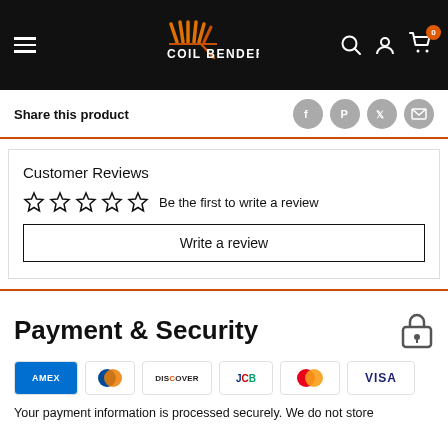[Figure (logo): Coil Benders logo with orange coil graphic and white text on black header bar with hamburger menu, search, account, and cart icons]
Share this product
[Figure (infographic): Social share icons: Facebook, Pinterest, Twitter, Email]
Customer Reviews
Be the first to write a review
Write a review
Payment & Security
[Figure (infographic): Payment card icons: AMEX, Diners Club, Discover, JCB, Mastercard, Visa]
Your payment information is processed securely. We do not store